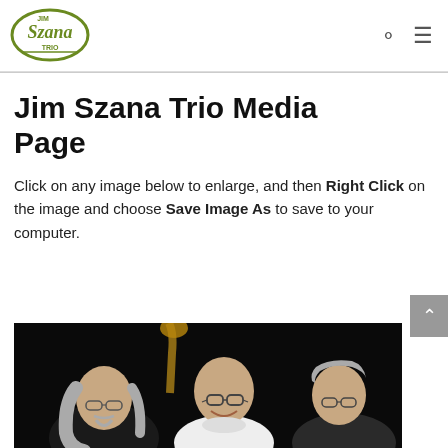Jim Szana Trio [logo with navigation search and menu icons]
Jim Szana Trio Media Page
Click on any image below to enlarge, and then Right Click on the image and choose Save Image As to save to your computer.
[Figure (photo): Three musicians photographed against a dark/black background. Left: man with long gray hair and goatee wearing glasses. Center: bald man with glasses in white turtleneck, smiling. Right: man with gray hair and glasses. A bass instrument neck is visible at the top.]